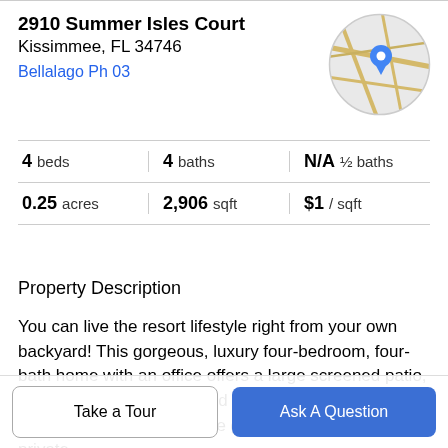2910 Summer Isles Court
Kissimmee, FL 34746
Bellalago Ph 03
[Figure (map): Circular map thumbnail with a blue location pin marker]
| Stat | Value |
| --- | --- |
| beds | 4 |
| baths | 4 |
| ½ baths | N/A |
| acres | 0.25 |
| sqft | 2,906 |
| $ / sqft | $1 |
Property Description
You can live the resort lifestyle right from your own backyard! This gorgeous, luxury four-bedroom, four-bath home with an office offers a large screened patio, saltwater pool with spa, and stunning water views!!! When you arrive you will be greeted by a charming private
Take a Tour
Ask A Question